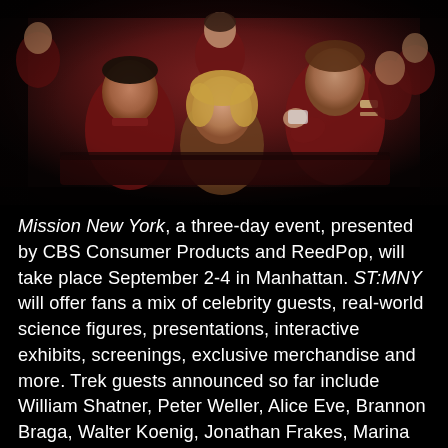[Figure (photo): Scene from Star Trek film featuring actors in Starfleet uniforms including recognizable cast members seated/standing on what appears to be a bridge or similar setting, dark red/maroon uniforms, cinematic still]
Mission New York, a three-day event, presented by CBS Consumer Products and ReedPop, will take place September 2-4 in Manhattan. ST:MNY will offer fans a mix of celebrity guests, real-world science figures, presentations, interactive exhibits, screenings, exclusive merchandise and more. Trek guests announced so far include William Shatner, Peter Weller, Alice Eve, Brannon Braga, Walter Koenig, Jonathan Frakes, Marina Sirtis, LeVar Burton, Terry Farrell, Michael Dorn, Gates McFadden, Bruce Greenwood, Nana Visitor, Rene Auberjonois, Armin Shimerman, Cirroc Lofton, Anthony Montgomery, Connor Trinneer, John Billingsley, Dominic